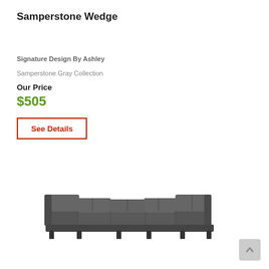Samperstone Wedge
Signature Design By Ashley
Samperstone Gray Collection
Our Price
$505
See Details
[Figure (photo): Gray leather sectional sofa with wedge piece, Samperstone collection by Signature Design by Ashley]